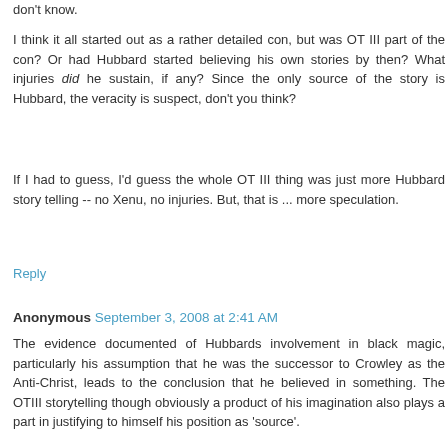don't know.
I think it all started out as a rather detailed con, but was OT III part of the con? Or had Hubbard started believing his own stories by then? What injuries did he sustain, if any? Since the only source of the story is Hubbard, the veracity is suspect, don't you think?
If I had to guess, I'd guess the whole OT III thing was just more Hubbard story telling -- no Xenu, no injuries. But, that is ... more speculation.
Reply
Anonymous September 3, 2008 at 2:41 AM
The evidence documented of Hubbards involvement in black magic, particularly his assumption that he was the successor to Crowley as the Anti-Christ, leads to the conclusion that he believed in something. The OTIII storytelling though obviously a product of his imagination also plays a part in justifying to himself his position as 'source'.